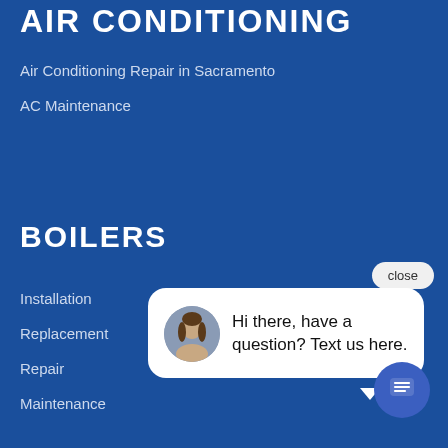AIR CONDITIONING
Air Conditioning Repair in Sacramento
AC Maintenance
BOILERS
Installation
Replacement
Repair
Maintenance
[Figure (screenshot): Chat widget popup with close button, avatar of a woman, and text: Hi there, have a question? Text us here. Blue chat icon button at bottom right.]